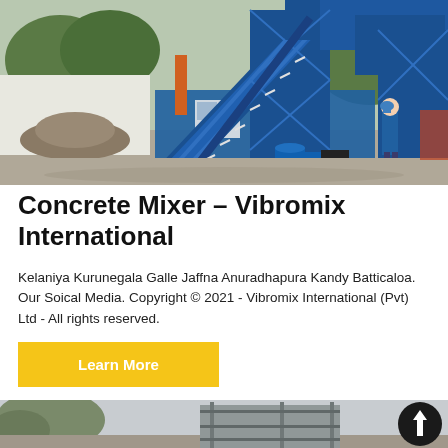[Figure (photo): Large blue concrete mixing plant/batching plant with steel scaffolding and staircases, a worker in blue uniform and hard hat standing nearby, aggregate piles on the left, blue barrels on the ground, trees in the background.]
Concrete Mixer – Vibromix International
Kelaniya Kurunegala Galle Jaffna Anuradhapura Kandy Batticaloa. Our Soical Media. Copyright © 2021 - Vibromix International (Pvt) Ltd - All rights reserved.
Learn More
[Figure (photo): Partial view of another construction machinery or equipment photo at the bottom of the page, partially cut off.]